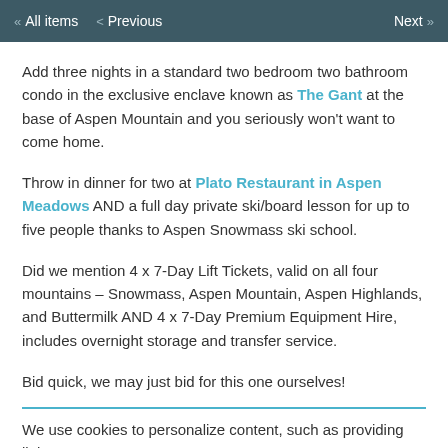« All items   < Previous   Next >
Add three nights in a standard two bedroom two bathroom condo in the exclusive enclave known as The Gant at the base of Aspen Mountain and you seriously won't want to come home.
Throw in dinner for two at Plato Restaurant in Aspen Meadows AND a full day private ski/board lesson for up to five people thanks to Aspen Snowmass ski school.
Did we mention 4 x 7-Day Lift Tickets, valid on all four mountains – Snowmass, Aspen Mountain, Aspen Highlands, and Buttermilk AND 4 x 7-Day Premium Equipment Hire, includes overnight storage and transfer service.
Bid quick, we may just bid for this one ourselves!
We use cookies to personalize content, such as providing links